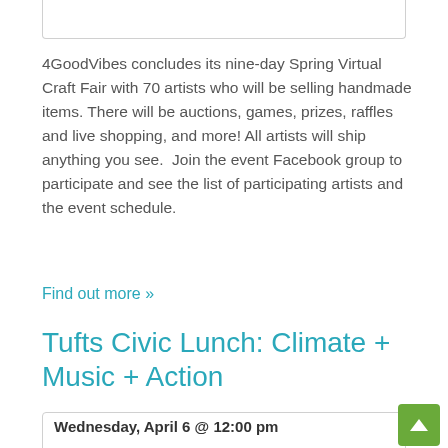4GoodVibes concludes its nine-day Spring Virtual Craft Fair with 70 artists who will be selling handmade items. There will be auctions, games, prizes, raffles and live shopping, and more! All artists will ship anything you see.  Join the event Facebook group to participate and see the list of participating artists and the event schedule.
Find out more »
Tufts Civic Lunch: Climate + Music + Action
Wednesday, April 6 @ 12:00 pm
Virtual Medford, MA 02155 United States + Google Map